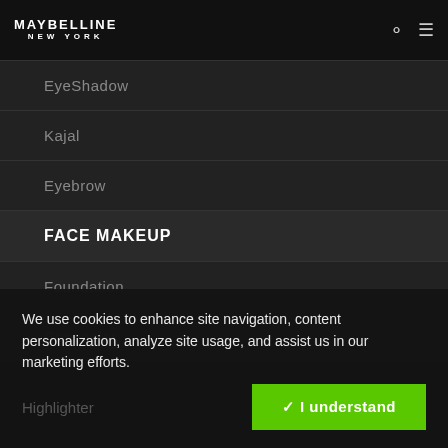MAYBELLINE NEW YORK
EyeShadow
Kajal
Eyebrow
FACE MAKEUP
Foundation
Concealer
We use cookies to enhance site navigation, content personalization, analyze site usage, and assist us in our marketing efforts.
Highlighter
✓ I understand